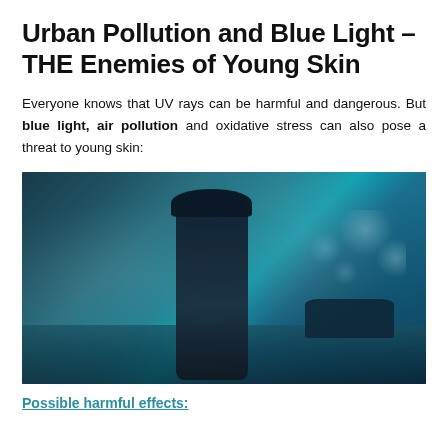Urban Pollution and Blue Light - THE Enemies of Young Skin
Everyone knows that UV rays can be harmful and dangerous. But blue light, air pollution and oxidative stress can also pose a threat to young skin:
[Figure (photo): A woman in a black jacket and black hat standing in an urban street at night, holding a smartphone, with city lights in the background. The image has a blue-teal color tone.]
Possible harmful effects: